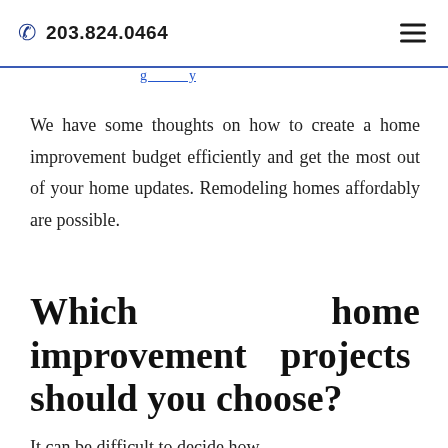203.824.0464
We have some thoughts on how to create a home improvement budget efficiently and get the most out of your home updates. Remodeling homes affordably are possible.
Which home improvement projects should you choose?
It can be difficult to decide how